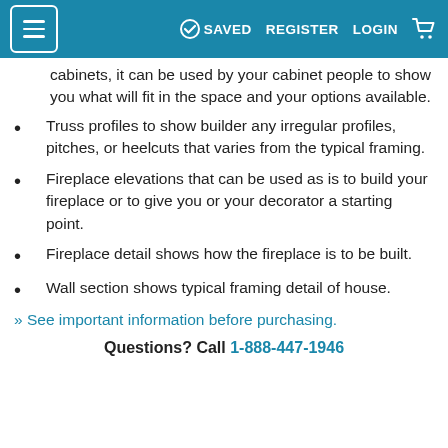SAVED  REGISTER  LOGIN
cabinets, it can be used by your cabinet people to show you what will fit in the space and your options available.
Truss profiles to show builder any irregular profiles, pitches, or heelcuts that varies from the typical framing.
Fireplace elevations that can be used as is to build your fireplace or to give you or your decorator a starting point.
Fireplace detail shows how the fireplace is to be built.
Wall section shows typical framing detail of house.
» See important information before purchasing.
Questions? Call 1-888-447-1946